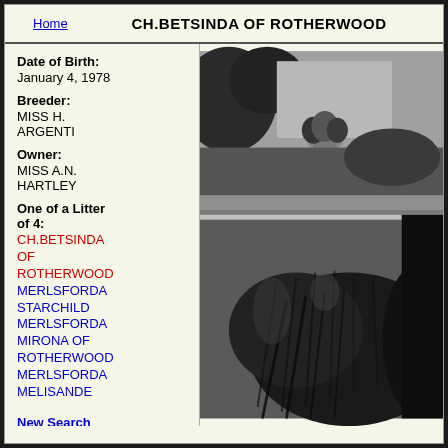Home | CH.BETSINDA OF ROTHERWOOD
Date of Birth: January 4, 1978
Breeder: MISS H. ARGENTI
Owner: MISS A.N. HARTLEY
One of a Litter of 4: CH.BETSINDA OF ROTHERWOOD, MERLSFORDA STARCHILD, MERLSFORDA MIRONA OF ROTHERWOOD, MERLSFORDA MELISANDE
[Figure (photo): Black and white photograph of a long-haired dog (possibly an Afghan Hound or similar breed) in a garden setting with a stone urn/planter and foliage visible in the background]
New Search